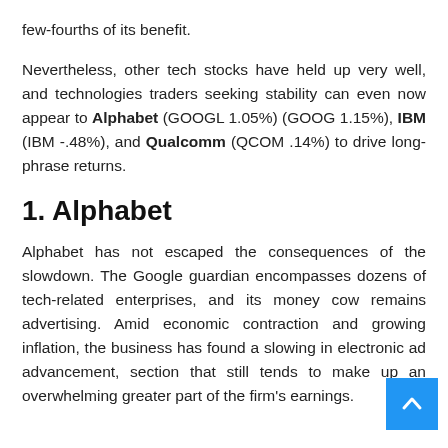few-fourths of its benefit.
Nevertheless, other tech stocks have held up very well, and technologies traders seeking stability can even now appear to Alphabet (GOOGL 1.05%) (GOOG 1.15%), IBM (IBM -.48%), and Qualcomm (QCOM .14%) to drive long-phrase returns.
1. Alphabet
Alphabet has not escaped the consequences of the slowdown. The Google guardian encompasses dozens of tech-related enterprises, and its money cow remains advertising. Amid economic contraction and growing inflation, the business has found a slowing in electronic ad advancement, section that still tends to make up an overwhelming greater part of the firm's earnings.